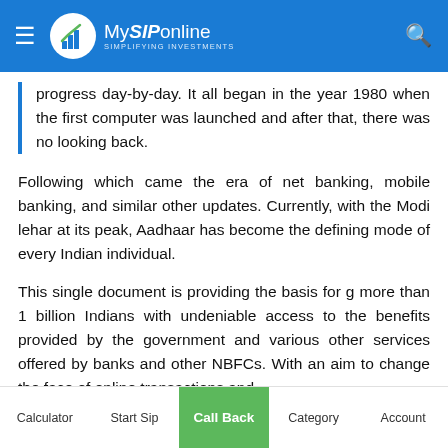MySIPonline — SIMPLIFYING INVESTMENTS
progress day-by-day. It all began in the year 1980 when the first computer was launched and after that, there was no looking back.
Following which came the era of net banking, mobile banking, and similar other updates. Currently, with the Modi lehar at its peak, Aadhaar has become the defining mode of every Indian individual.
This single document is providing the basis for giving more than 1 billion Indians with undeniable access to the benefits provided by the government and various other services offered by banks and other NBFCs. With an aim to change the face of online transactions and
Calculator   Start Sip   Call Back   Category   Account